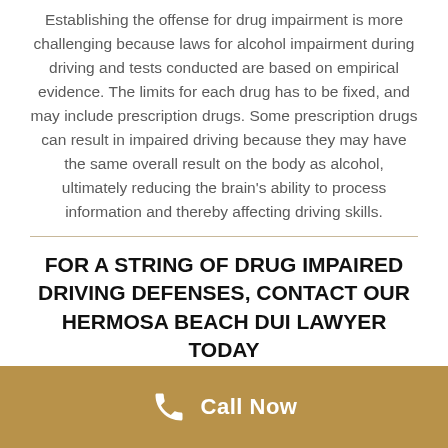Establishing the offense for drug impairment is more challenging because laws for alcohol impairment during driving and tests conducted are based on empirical evidence. The limits for each drug has to be fixed, and may include prescription drugs. Some prescription drugs can result in impaired driving because they may have the same overall result on the body as alcohol, ultimately reducing the brain's ability to process information and thereby affecting driving skills.
FOR A STRING OF DRUG IMPAIRED DRIVING DEFENSES, CONTACT OUR HERMOSA BEACH DUI LAWYER TODAY
Call Now